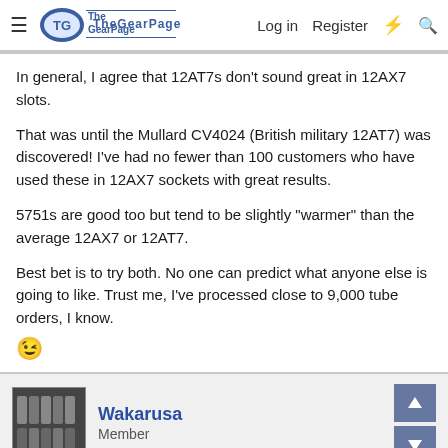The Gear Page — Log in  Register
In general, I agree that 12AT7s don't sound great in 12AX7 slots.
That was until the Mullard CV4024 (British military 12AT7) was discovered! I've had no fewer than 100 customers who have used these in 12AX7 sockets with great results.
5751s are good too but tend to be slightly "warmer" than the average 12AX7 or 12AT7.
Best bet is to try both. No one can predict what anyone else is going to like. Trust me, I've processed close to 9,000 tube orders, I know. 😉
Wakarusa
Member
Aug 1, 2004  #6